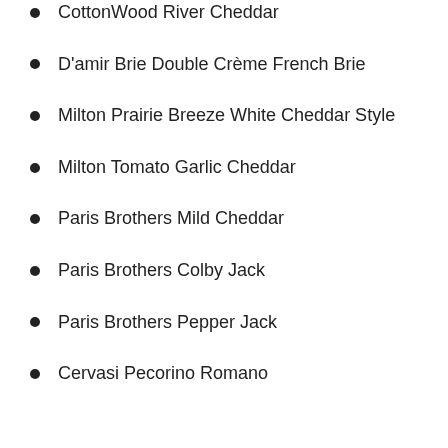CottonWood River Cheddar
D'amir Brie Double Crème French Brie
Milton Prairie Breeze White Cheddar Style
Milton Tomato Garlic Cheddar
Paris Brothers Mild Cheddar
Paris Brothers Colby Jack
Paris Brothers Pepper Jack
Cervasi Pecorino Romano